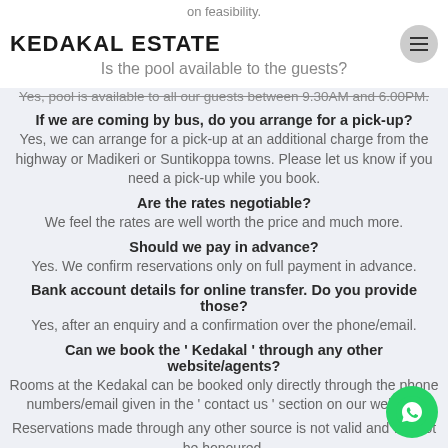KEDAKAL ESTATE
on feasibility.
Is the pool available to the guests?
Yes, pool is available to all our guests between 9.30AM and 6.00PM.
If we are coming by bus, do you arrange for a pick-up?
Yes, we can arrange for a pick-up at an additional charge from the highway or Madikeri or Suntikoppa towns. Please let us know if you need a pick-up while you book.
Are the rates negotiable?
We feel the rates are well worth the price and much more.
Should we pay in advance?
Yes. We confirm reservations only on full payment in advance.
Bank account details for online transfer. Do you provide those?
Yes, after an enquiry and a confirmation over the phone/email.
Can we book the ' Kedakal ' through any other website/agents?
Rooms at the Kedakal can be booked only directly through the phone numbers/email given in the ' contact us ' section on our website.
Reservations made through any other source is not valid and will not be honoured.
What Should I carry?
Warm clothing /walking shoes/umbrellas/swim wear(if you ...